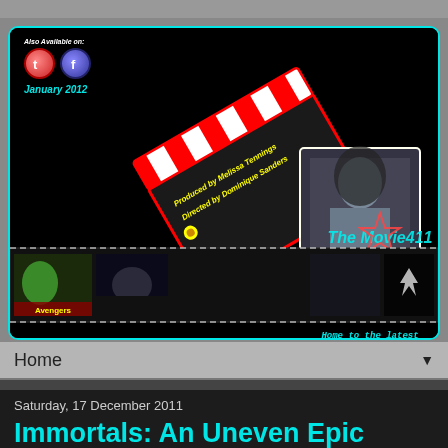[Figure (screenshot): Website banner for 'The Movie411' blog featuring a clapperboard graphic with text 'Produced by Melissa Tennings, Directed by Dominique Sanders', film strip with movie thumbnails including The Avengers and Batman, a featured actress photo, and 'The Movie411' logo. Also shows Twitter and Facebook icons, 'Also Available on:' text, and 'January 2012' date. Right side says 'Home to the latest Movie Gossip, Rumours and Reviews'.]
Home
Saturday, 17 December 2011
Immortals: An Uneven Epic